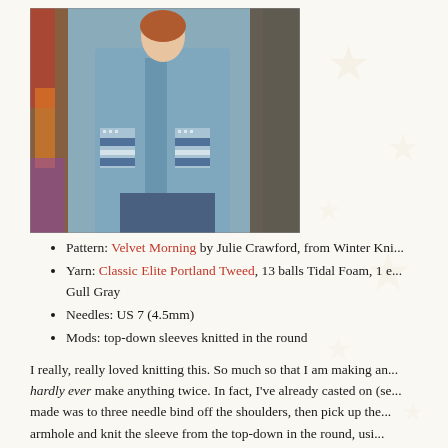[Figure (photo): Woman wearing a light blue knitted cardigan with Fair Isle colorwork pattern on the sleeves, standing in front of a colorful feathered background with an animal visible to the right.]
Pattern: Velvet Morning by Julie Crawford, from Winter Kni...
Yarn: Classic Elite Portland Tweed, 13 balls Tidal Foam, 1 e... Gull Gray
Needles: US 7 (4.5mm)
Mods: top-down sleeves knitted in the round
I really, really loved knitting this. So much so that I am making an... hardly ever make anything twice. In fact, I've already casted on (se... made was to three needle bind off the shoulders, then pick up the... armhole and knit the sleeve from the top-down in the round, usi...